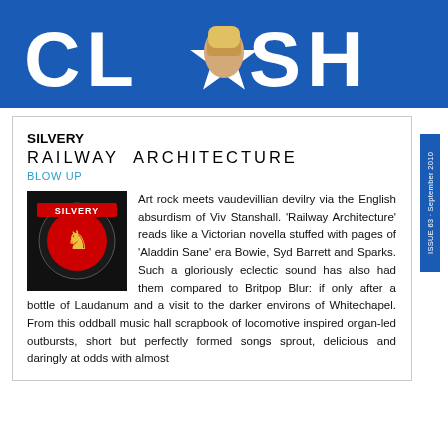[Figure (logo): CLASH magazine logo banner — white text 'CLASH' with a star, blue background, person's head visible in center]
SILVERY
RAILWAY ARCHITECTURE
BLOW UP
[Figure (photo): Album cover for Silvery - Railway Architecture, dark background with red horse/lion design]
Art rock meets vaudevillian devilry via the English absurdism of Viv Stanshall. 'Railway Architecture' reads like a Victorian novella stuffed with pages of 'Aladdin Sane' era Bowie, Syd Barrett and Sparks. Such a gloriously eclectic sound has also had them compared to Britpop Blur: if only after a bottle of Laudanum and a visit to the darker environs of Whitechapel. From this oddball music hall scrapbook of locomotive inspired organ-led outbursts, short but perfectly formed songs sprout, delicious and daringly at odds with almost
ISSUE 63 · September 2010